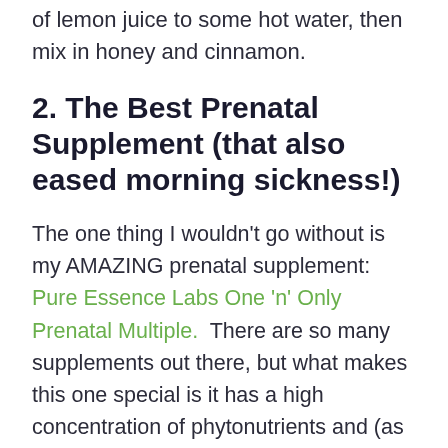of lemon juice to some hot water, then mix in honey and cinnamon.
2. The Best Prenatal Supplement (that also eased morning sickness!)
The one thing I wouldn't go without is my AMAZING prenatal supplement: Pure Essence Labs One 'n' Only Prenatal Multiple. There are so many supplements out there, but what makes this one special is it has a high concentration of phytonutrients and (as the name One 'n' Only suggests) you only have to